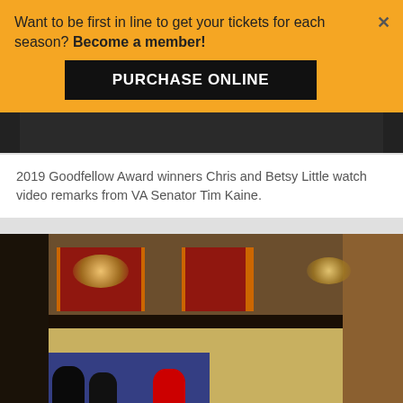[Figure (photo): Partial photo of people watching video at an event, mostly obscured by the banner overlay]
Want to be first in line to get your tickets for each season? Become a member!
PURCHASE ONLINE
2019 Goodfellow Award winners Chris and Betsy Little watch video remarks from VA Senator Tim Kaine.
[Figure (photo): Interior of an ornate theatre showing a two-level stage with red curtains, chandeliers, decorative balcony railing, and people on stage under blue lighting]